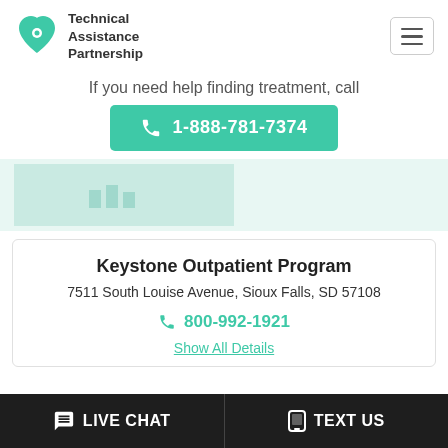[Figure (logo): Technical Assistance Partnership logo with teal heart icon and bold text]
If you need help finding treatment, call
1-888-781-7374
[Figure (screenshot): Partial map/location placeholder area with light teal background]
Keystone Outpatient Program
7511 South Louise Avenue, Sioux Falls, SD 57108
800-992-1921
Show All Details
LIVE CHAT
TEXT US